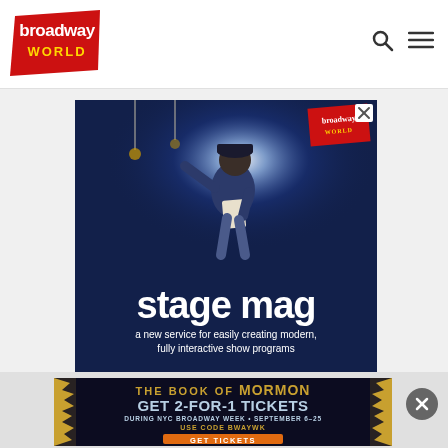[Figure (logo): BroadwayWorld logo — red diagonal banner with text 'broadway WORLD']
[Figure (screenshot): Navigation bar with search (magnifying glass) and hamburger menu icons]
[Figure (photo): Stage Mag advertisement: dark blue background, person on stage holding script with spotlight, text 'stage mag' in large white letters, subtitle 'a new service for easily creating modern, fully interactive show programs', BroadwayWorld logo badge top right, X close button top right]
[Figure (infographic): The Book of Mormon advertisement: gold/dark background with spiked border, text 'THE BOOK OF MORMON', 'GET 2-FOR-1 TICKETS', 'DURING NYC BROADWAY WEEK · SEPTEMBER 6-25', 'USE CODE BWAYWK', orange 'GET TICKETS' button]